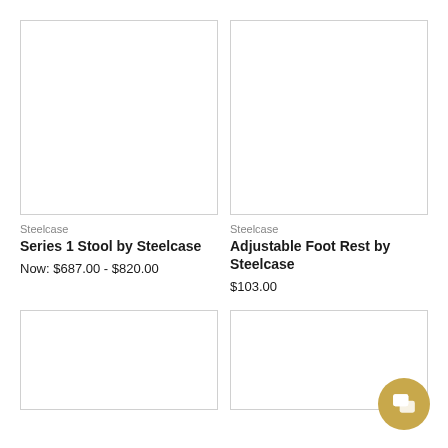[Figure (photo): Product image placeholder for Series 1 Stool by Steelcase - white/blank square]
[Figure (photo): Product image placeholder for Adjustable Foot Rest by Steelcase - white/blank square]
Steelcase
Series 1 Stool by Steelcase
Now: $687.00 - $820.00
Steelcase
Adjustable Foot Rest by Steelcase
$103.00
[Figure (photo): Product image placeholder - white/blank square bottom left]
[Figure (photo): Product image placeholder - white/blank square bottom right]